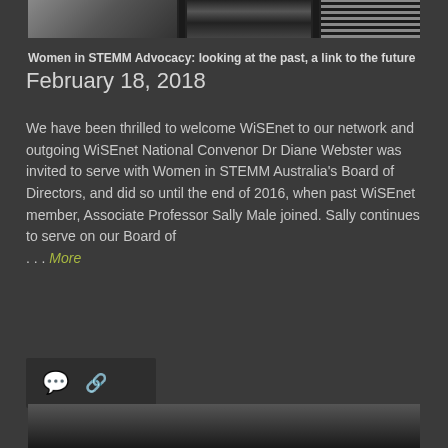[Figure (photo): Partial top image showing what appears to be architecture or interior photos in black and white, split into three panels]
Women in STEMM Advocacy: looking at the past, a link to the future
February 18, 2018
We have been thrilled to welcome WiSEnet to our network and outgoing WiSEnet National Convenor Dr Diane Webster was invited to serve with Women in STEMM Australia’s Board of Directors, and did so until the end of 2016, when past WiSEnet member, Associate Professor Sally Male joined. Sally continues to serve on our Board of . . . More
[Figure (infographic): Action bar with comment icon and share/link icon on dark background]
[Figure (photo): Partial bottom image, cropped, showing dark tones]